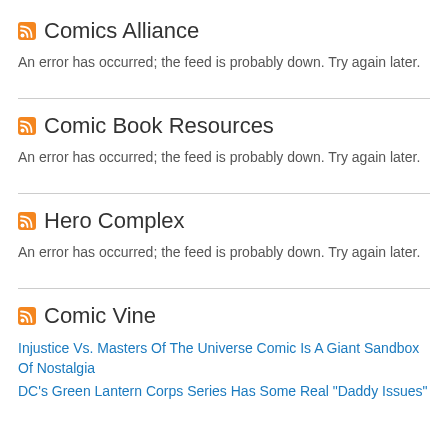Comics Alliance
An error has occurred; the feed is probably down. Try again later.
Comic Book Resources
An error has occurred; the feed is probably down. Try again later.
Hero Complex
An error has occurred; the feed is probably down. Try again later.
Comic Vine
Injustice Vs. Masters Of The Universe Comic Is A Giant Sandbox Of Nostalgia
DC's Green Lantern Corps Series Has Some Real "Daddy Issues"